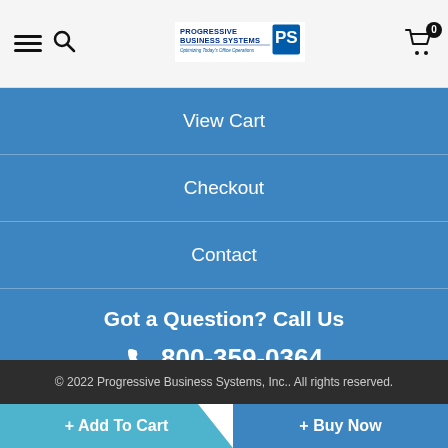Progressive Business Systems — Optimizing Today's Office Operations
View Cart
Checkout
Contact
Got a Question? Call Us
800-359-0364
Mon-Fri 8am-5pm Eastern
© 2022 Progressive Business Systems, Inc.. All rights reserved.
+ Add To Cart
+ Buy Now